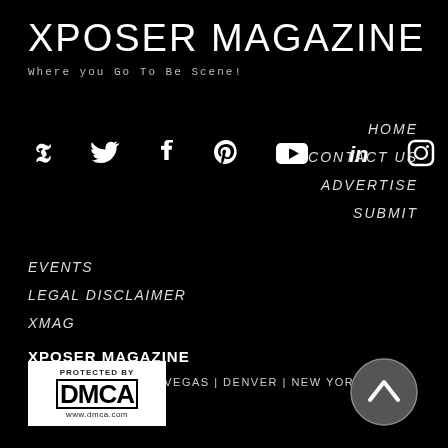XPOSER MAGAZINE
Where you Go To Be Scene!
[Figure (other): Social media icons row: Twitter, Facebook, Pinterest, YouTube, LinkedIn, Instagram]
HOME
CONTACT US
ADVERTISE
SUBMIT
EVENTS
LEGAL DISCLAIMER
XMAG
XPOSER MAGAZINE
LOS ANGELES | LAS VEGAS | DENVER | NEW YORK
[Figure (logo): DMCA Protected badge with text 'Protected by DMCA www.dmca.com']
[Figure (other): Scroll to top button - circular grey button with upward chevron arrow]